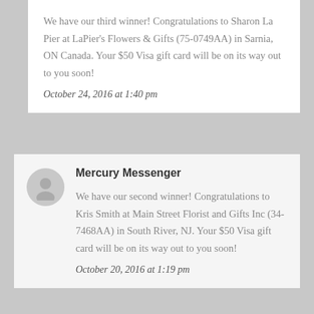We have our third winner! Congratulations to Sharon La Pier at LaPier's Flowers & Gifts (75-0749AA) in Sarnia, ON Canada. Your $50 Visa gift card will be on its way out to you soon!
October 24, 2016 at 1:40 pm
[Figure (illustration): Gray circular avatar icon with silhouette of a person]
Mercury Messenger
We have our second winner! Congratulations to Kris Smith at Main Street Florist and Gifts Inc (34-7468AA) in South River, NJ. Your $50 Visa gift card will be on its way out to you soon!
October 20, 2016 at 1:19 pm